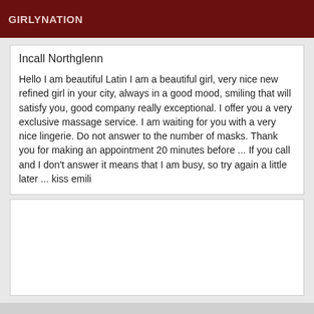GIRLYNATION
Incall Northglenn
Hello I am beautiful Latin I am a beautiful girl, very nice new refined girl in your city, always in a good mood, smiling that will satisfy you, good company really exceptional. I offer you a very exclusive massage service. I am waiting for you with a very nice lingerie. Do not answer to the number of masks. Thank you for making an appointment 20 minutes before ... If you call and I don't answer it means that I am busy, so try again a little later ... kiss emili